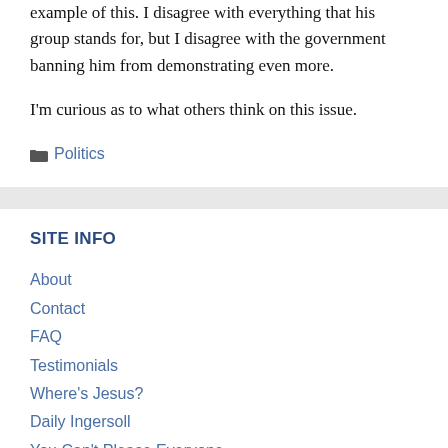example of this. I disagree with everything that his group stands for, but I disagree with the government banning him from demonstrating even more.
I'm curious as to what others think on this issue.
Politics
SITE INFO
About
Contact
FAQ
Testimonials
Where's Jesus?
Daily Ingersoll
You Can't Please Everyone